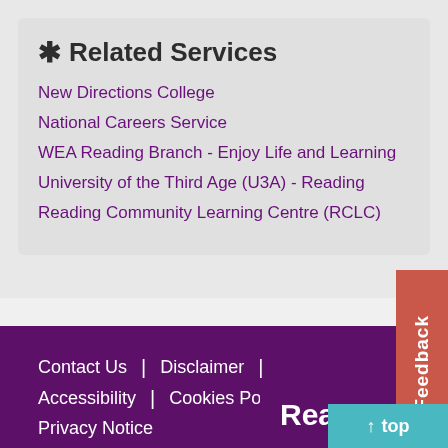* Related Services
New Directions College
National Careers Service
WEA Reading Branch - Enjoy Life and Learning
University of the Third Age (U3A) - Reading
Reading Community Learning Centre (RCLC)
Contact Us | Disclaimer | Accessibility | Cookies Policy | Privacy Notice
[Figure (logo): Reading Borough Council logo with globe icon and 'Read' text]
Feedback
top